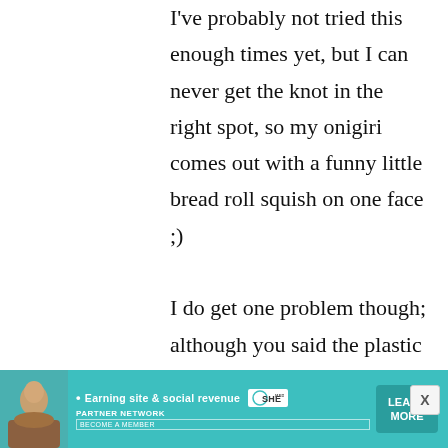I've probably not tried this enough times yet, but I can never get the knot in the right spot, so my onigiri comes out with a funny little bread roll squish on one face ;)

I do get one problem though; although you said the plastic wrap can be reused, after
[Figure (infographic): Advertisement banner for SHE Media Partner Network with teal background. Shows a woman photo on left, tagline 'Earning site & social revenue', SHE logo, PARTNER NETWORK text, BECOME A MEMBER text, and a LEARN MORE button on the right.]